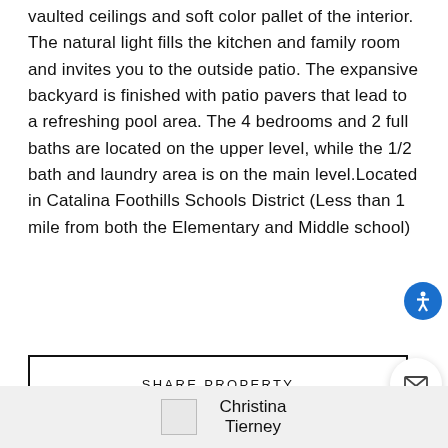vaulted ceilings and soft color pallet of the interior. The natural light fills the kitchen and family room and invites you to the outside patio. The expansive backyard is finished with patio pavers that lead to a refreshing pool area. The 4 bedrooms and 2 full baths are located on the upper level, while the 1/2 bath and laundry area is on the main level.Located in Catalina Foothills Schools District (Less than 1 mile from both the Elementary and Middle school)
SHARE PROPERTY
[Figure (other): Agent photo placeholder for Christina Tierney]
Christina Tierney